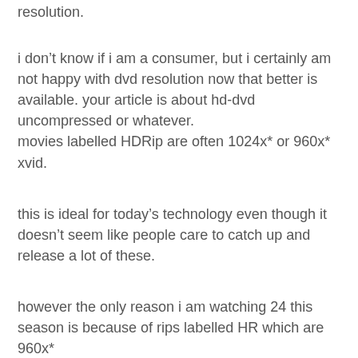resolution.
i don't know if i am a consumer, but i certainly am not happy with dvd resolution now that better is available. your article is about hd-dvd uncompressed or whatever.
movies labelled HDRip are often 1024x* or 960x* xvid.
this is ideal for today's technology even though it doesn't seem like people care to catch up and release a lot of these.
however the only reason i am watching 24 this season is because of rips labelled HR which are 960x*
they are clearly amazing looking and i don't mind double the filesize.